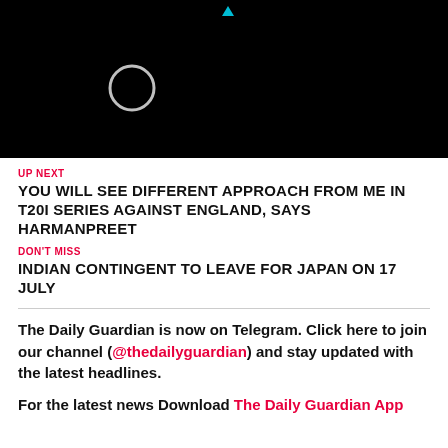[Figure (other): Black video player area with a loading spinner circle and a small cyan/blue play indicator at the top center]
UP NEXT
YOU WILL SEE DIFFERENT APPROACH FROM ME IN T20I SERIES AGAINST ENGLAND, SAYS HARMANPREET
DON'T MISS
INDIAN CONTINGENT TO LEAVE FOR JAPAN ON 17 JULY
The Daily Guardian is now on Telegram. Click here to join our channel (@thedailyguardian) and stay updated with the latest headlines.
For the latest news Download The Daily Guardian App